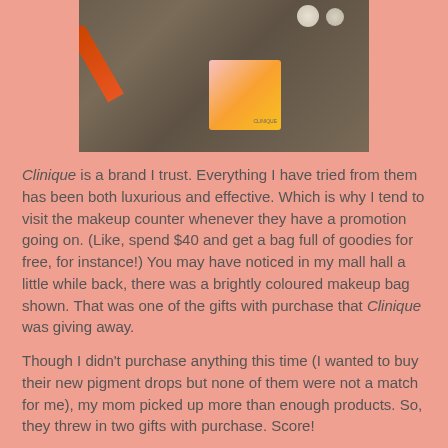[Figure (photo): Photo of Clinique makeup products on a granite/dark counter surface, including an orange lipstick, small bottles, and a colorful Clinique card with citrus fruit design]
Clinique is a brand I trust. Everything I have tried from them has been both luxurious and effective. Which is why I tend to visit the makeup counter whenever they have a promotion going on. (Like, spend $40 and get a bag full of goodies for free, for instance!) You may have noticed in my mall hall a little while back, there was a brightly coloured makeup bag shown. That was one of the gifts with purchase that Clinique was giving away.
Though I didn't purchase anything this time (I wanted to buy their new pigment drops but none of them were not a match for me), my mom picked up more than enough products. So, they threw in two gifts with purchase. Score!
The Clinique gift set included: